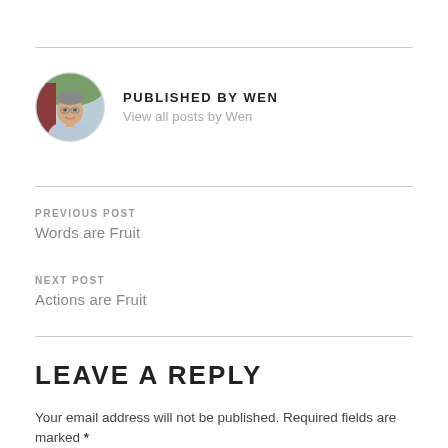[Figure (photo): Circular cropped portrait photo of a smiling middle-aged man wearing a light blue shirt, with an outdoor background.]
PUBLISHED BY WEN
View all posts by Wen
PREVIOUS POST
Words are Fruit
NEXT POST
Actions are Fruit
LEAVE A REPLY
Your email address will not be published. Required fields are marked *